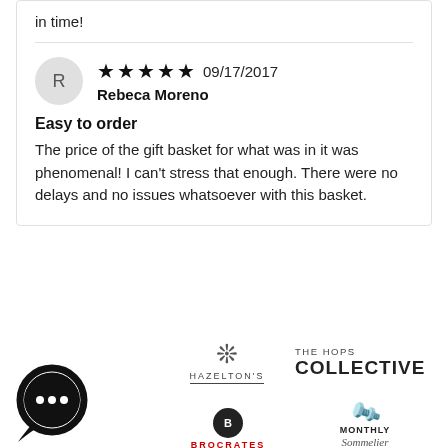in time!
★★★★★ 09/17/2017
Rebeca Moreno
Easy to order
The price of the gift basket for what was in it was phenomenal! I can't stress that enough. There were no delays and no issues whatsoever with this basket.
[Figure (logo): Hazelton's logo with snowflake icon and underlined text]
[Figure (logo): The Hops Collective logo]
[Figure (logo): Brocrates logo with black circle icon and red text]
[Figure (logo): Monthly Sommelier logo with cork icon and italic text]
[Figure (logo): Chat widget bubble icon with ellipsis]